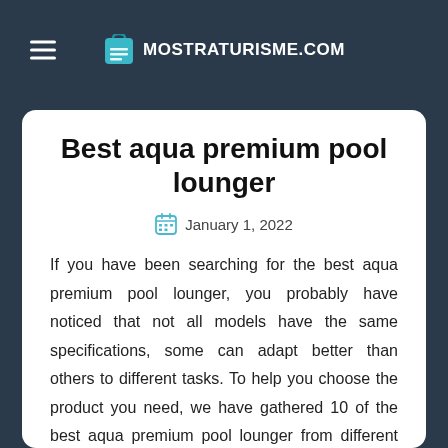MOSTRATURISME.COM
Best aqua premium pool lounger
January 1, 2022
If you have been searching for the best aqua premium pool lounger, you probably have noticed that not all models have the same specifications, some can adapt better than others to different tasks. To help you choose the product you need, we have gathered 10 of the best aqua premium pool lounger from different categories on the